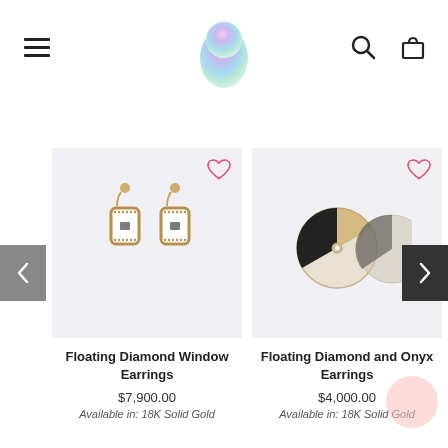[Figure (logo): Colorful pastel gradient egg-shaped logo centered in header]
[Figure (photo): Gold diamond window earrings on light gray background with pink heart icon]
Floating Diamond Window Earrings
$7,900.00
Available in: 18K Solid Gold
[Figure (photo): Floating diamond and onyx circular earrings on light gray background with pink heart icon]
Floating Diamond and Onyx Earrings
$4,000.00
Available in: 18K Solid Gold